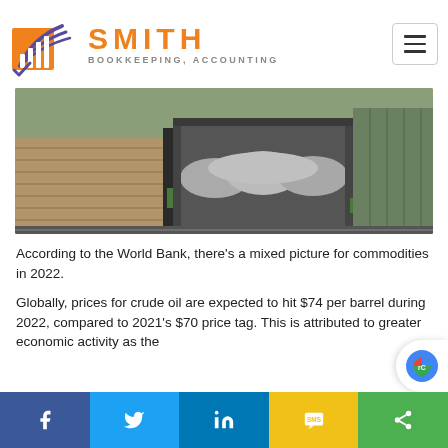[Figure (logo): Smith Bookkeeping, Accounting logo with orange and purple graphic mark, orange SMITH text, gray BOOKKEEPING, ACCOUNTING subtext, and hamburger menu button]
[Figure (photo): Aerial view of open-top freight rail cars loaded with gravel or coal on railway tracks, photographed from above]
According to the World Bank, there’s a mixed picture for commodities in 2022.
Globally, prices for crude oil are expected to hit $74 per barrel during 2022, compared to 2021’s $70 price tag. This is attributed to greater economic activity as the
[Figure (other): Social share bar with Facebook, Twitter, LinkedIn, SMS, and share buttons]